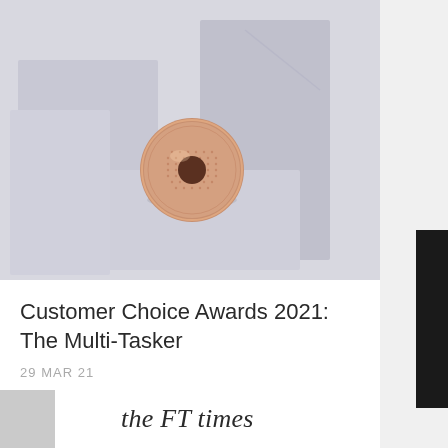[Figure (photo): Product photo of a rose gold circular device placed on white geometric blocks against a light lavender/grey background]
Customer Choice Awards 2021: The Multi-Tasker
29 MAR 21
[Figure (photo): The FT Times magazine 'IN THE PRESS' card featuring cursive logo text, black banner, and product images of toothbrushes/dental products with quote marks below]